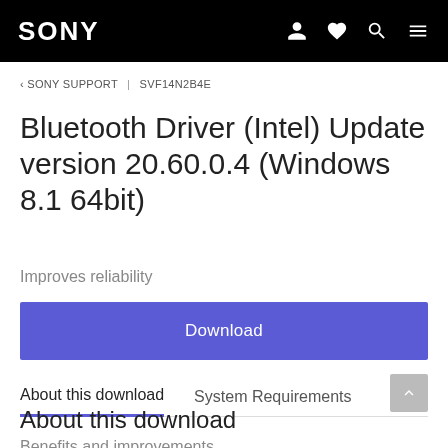SONY
‹ SONY SUPPORT | SVF14N2B4E
Bluetooth Driver (Intel) Update version 20.60.0.4 (Windows 8.1 64bit)
Improves reliability
Download
About this download	System Requirements	F
About this download
Benefits and improvements